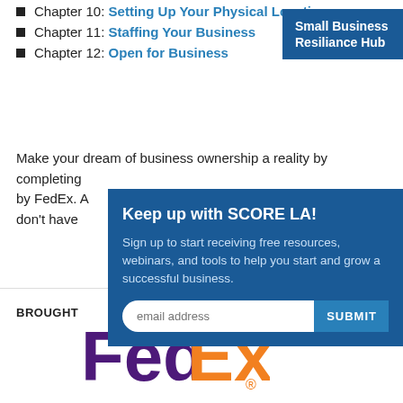Chapter 10: Setting Up Your Physical Location
Chapter 11: Staffing Your Business
Chapter 12: Open for Business
Small Business Resiliance Hub
Make your dream of business ownership a reality by completing... by FedEx. A... don't have...
[Figure (infographic): SCORE LA email signup popup: 'Keep up with SCORE LA! Sign up to start receiving free resources, webinars, and tools to help you start and grow a successful business.' with email address input and SUBMIT button.]
BROUGHT
[Figure (logo): FedEx logo in purple and orange]